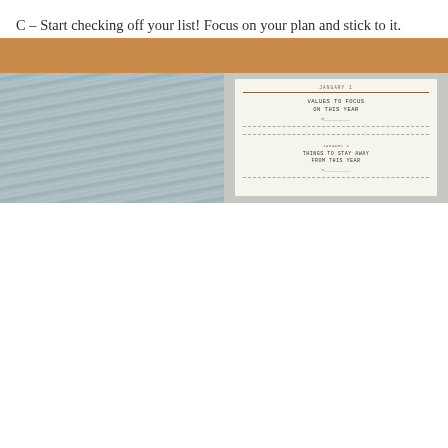C – Start checking off your list! Focus on your plan and stick to it. Now enjoy filling that box in with a checkmark.
I hope this was helpful in some shape or form for you. Good luck on your list making and checking off those to-dos!
Stay safe, be nice, and welcome 2021!
~Bridget
[Figure (photo): A warm golden-tan background with two notebook pages photographed from above on a wood-textured surface. The left page shows blank lines and the right page shows sections titled 'VALUES TO FOCUS ON THIS YEAR' and 'THINGS TO STAY AWAY FROM THIS YEAR'.]